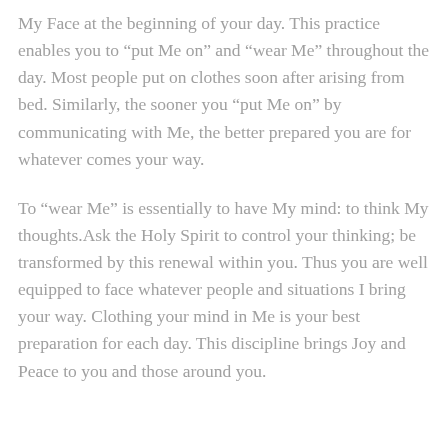My Face at the beginning of your day. This practice enables you to “put Me on” and “wear Me” throughout the day. Most people put on clothes soon after arising from bed. Similarly, the sooner you “put Me on” by communicating with Me, the better prepared you are for whatever comes your way.
To “wear Me” is essentially to have My mind: to think My thoughts.Ask the Holy Spirit to control your thinking; be transformed by this renewal within you. Thus you are well equipped to face whatever people and situations I bring your way. Clothing your mind in Me is your best preparation for each day. This discipline brings Joy and Peace to you and those around you.